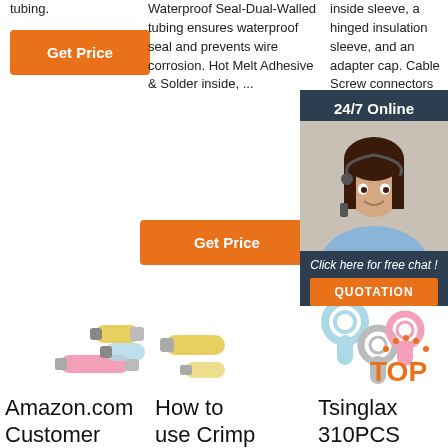tubing.
Waterproof Seal-Dual-Walled tubing ensures waterproof seal and prevents wire corrosion. Hot Melt Adhesive & Solder inside, ...
inside sleeve, a hinged insulation sleeve, and an adapter cap. Cable Screw connectors including strain r...
[Figure (other): Orange Get Price button in column 1]
[Figure (other): Orange Get Price button in column 2]
[Figure (other): Orange Get button in column 3 (partially visible)]
[Figure (photo): 24/7 Online chat popup with agent photo, 'Click here for free chat!' text, and QUOTATION button]
[Figure (photo): Product images: crimp wire connectors and terminals in various colors]
Amazon.com Customer
How to use Crimp
Tsinglax 310PCS